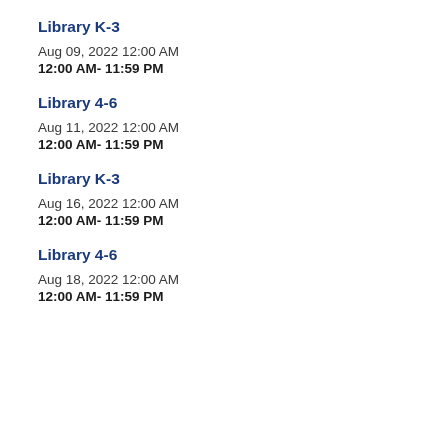Library K-3
Aug 09, 2022 12:00 AM
12:00 AM- 11:59 PM
Library 4-6
Aug 11, 2022 12:00 AM
12:00 AM- 11:59 PM
Library K-3
Aug 16, 2022 12:00 AM
12:00 AM- 11:59 PM
Library 4-6
Aug 18, 2022 12:00 AM
12:00 AM- 11:59 PM